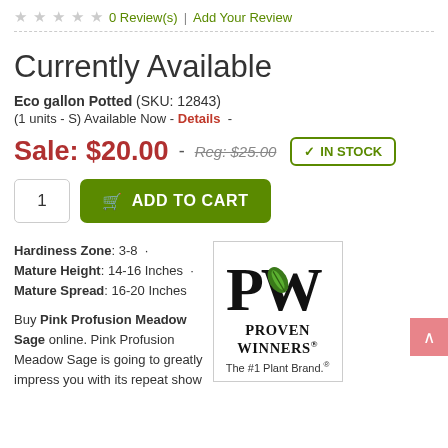★★★★★ 0 Review(s) | Add Your Review
Currently Available
Eco gallon Potted (SKU: 12843)
(1 units - S) Available Now - Details -
Sale: $20.00 - Reg: $25.00 ✓ IN STOCK
1  ADD TO CART
Hardiness Zone: 3-8 · Mature Height: 14-16 Inches · Mature Spread: 16-20 Inches
Buy Pink Profusion Meadow Sage online. Pink Profusion Meadow Sage is going to greatly impress you with its repeat show
[Figure (logo): Proven Winners logo - PW letters with green leaf, text PROVEN WINNERS The #1 Plant Brand.]